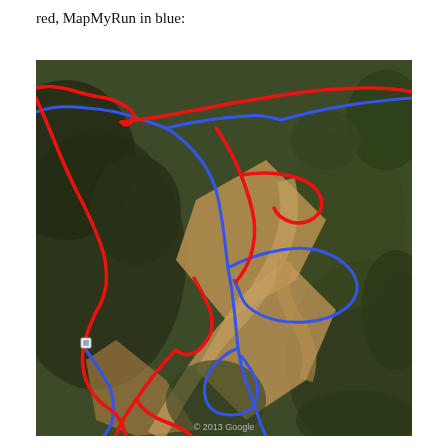red, MapMyRun in blue:
[Figure (map): Aerial/satellite map showing two GPS route overlays: one in red and one in blue, over hilly terrain with trails and sandy paths. The red route and blue route (MapMyRun) diverge and intersect across the landscape. A Google copyright notice '© 2013 Google' appears at the bottom.]